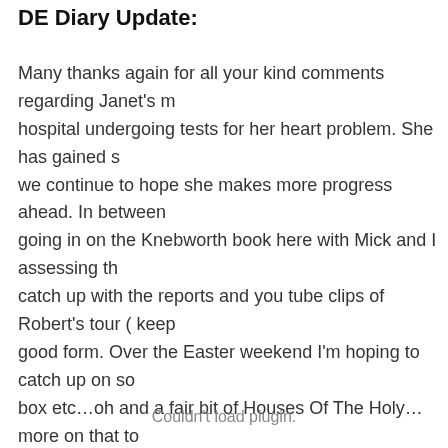DE Diary Update:
Many thanks again for all your kind comments regarding Janet's m hospital undergoing tests for her heart problem. She has gained s we continue to hope she makes more progress ahead. In between going in on the Knebworth book here with Mick and I assessing th catch up with the reports and you tube clips of Robert's tour ( keep good form. Over the Easter weekend I'm hoping to catch up on so box etc…oh and a fair bit of Houses Of The Holy…more on that to
Couldn't load plugin.